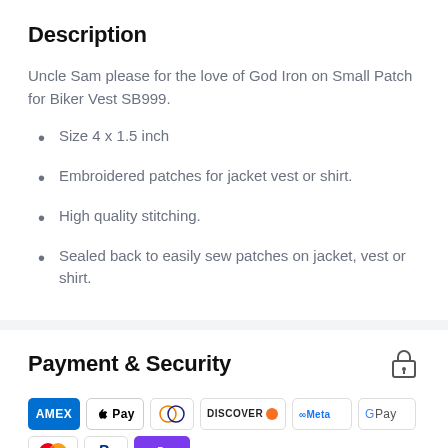Description
Uncle Sam please for the love of God Iron on Small Patch for Biker Vest SB999.
Size 4 x 1.5 inch
Embroidered patches for jacket vest or shirt.
High quality stitching.
Sealed back to easily sew patches on jacket, vest or shirt.
Payment & Security
[Figure (logo): Payment method icons: AMEX, Apple Pay, Diners Club, Discover, Meta Pay, Google Pay, Mastercard, PayPal, OPay, Venmo, Visa]